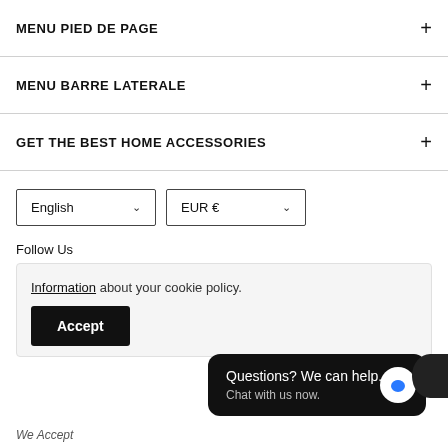MENU PIED DE PAGE
MENU BARRE LATERALE
GET THE BEST HOME ACCESSORIES
English  EUR €
Follow Us
Information about your cookie policy.
Accept
Questions? We can help. Chat with us now.
We Accept